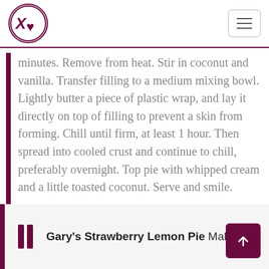XL logo and hamburger menu navigation
minutes. Remove from heat. Stir in coconut and vanilla. Transfer filling to a medium mixing bowl. Lightly butter a piece of plastic wrap, and lay it directly on top of filling to prevent a skin from forming. Chill until firm, at least 1 hour. Then spread into cooled crust and continue to chill, preferably overnight. Top pie with whipped cream and a little toasted coconut. Serve and smile.
Gary's Strawberry Lemon Pie Makes